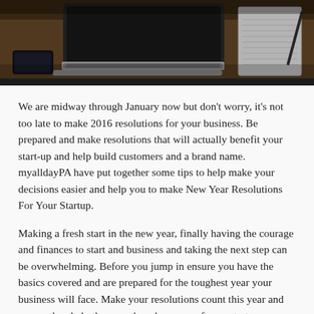[Figure (photo): Photo of a laptop computer, a smartphone, and a notepad with pen on a wooden desk, viewed from above]
We are midway through January now but don't worry, it's not too late to make 2016 resolutions for your business. Be prepared and make resolutions that will actually benefit your start-up and help build customers and a brand name. myalldayPA have put together some tips to help make your decisions easier and help you to make New Year Resolutions For Your Startup.
Making a fresh start in the new year, finally having the courage and finances to start and business and taking the next step can be overwhelming. Before you jump in ensure you have the basics covered and are prepared for the toughest year your business will face. Make your resolutions count this year and ensure they help the growth and success of your startup business.